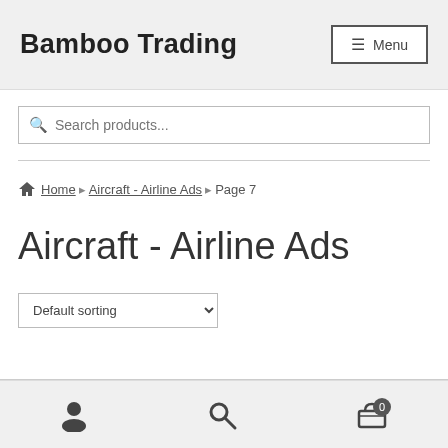Bamboo Trading | Menu
Search products...
Home › Aircraft - Airline Ads › Page 7
Aircraft - Airline Ads
Default sorting
Account | Search | Cart 0